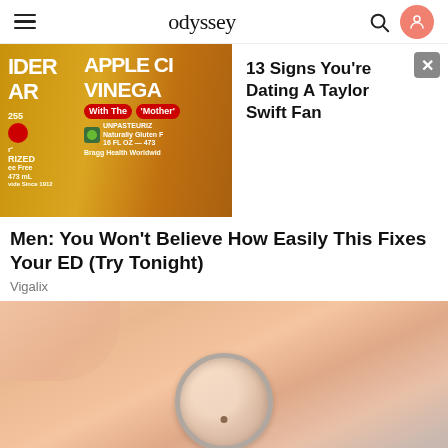odyssey
[Figure (photo): Apple cider vinegar bottles with yellow labels, partially cropped, showing 'APPLE CIDER VINEGAR With The Mother UNPASTEURIZED Naturally Gluten Free 16 FL OZ - 473 mL Bragg Health Worldwide']
13 Signs You're Dating A Taylor Swift Fan
Men: You Won't Believe How Easily This Fixes Your ED (Try Tonight)
Vigalix
[Figure (photo): Close-up photo of a person's skin/face with a circular metal ring or glass object pressed against it, showing a small mole or mark inside the ring]